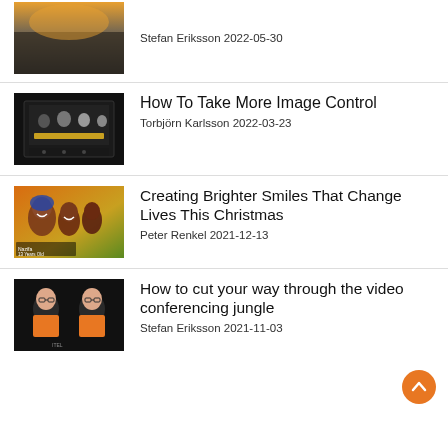[Figure (photo): Thumbnail image: landscape/nature scene (partial, top cropped)]
Stefan Eriksson 2022-05-30
[Figure (photo): Thumbnail image: people in a dark meeting room with a video conferencing screen]
How To Take More Image Control
Torbjörn Karlsson 2022-03-23
[Figure (photo): Thumbnail image: smiling African children, one labeled Nazifa 13 Years Old]
Creating Brighter Smiles That Change Lives This Christmas
Peter Renkel 2021-12-13
[Figure (photo): Thumbnail image: two people in orange vests, video conferencing context]
How to cut your way through the video conferencing jungle
Stefan Eriksson 2021-11-03